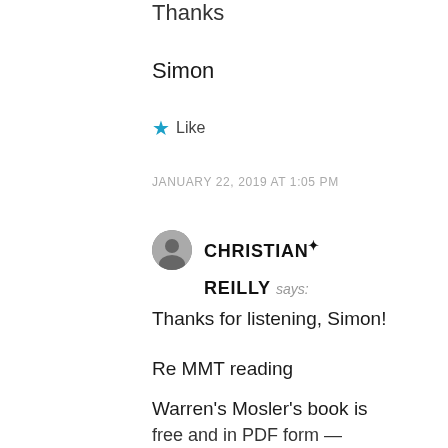Thanks
Simon
★ Like
JANUARY 22, 2019 AT 1:05 PM
CHRISTIAN REILLY says:
Thanks for listening, Simon!
Re MMT reading
Warren's Mosler's book is